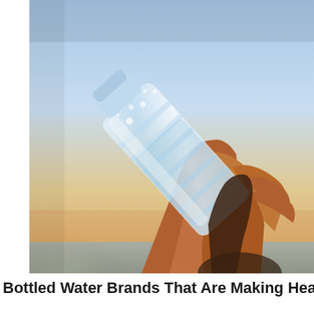[Figure (photo): A person drinking from a clear plastic water bottle held up against a bright sunny sky with warm golden and blue tones, backlit sunlight visible in the lower left background.]
Bottled Water Brands That Are Making Hea